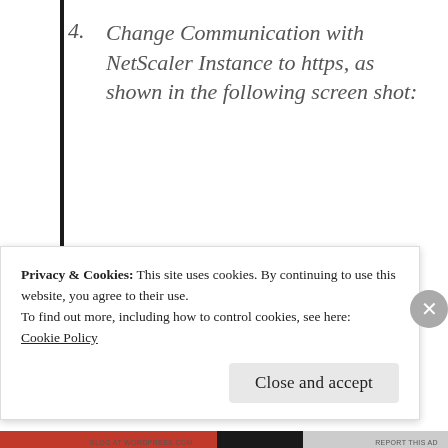4. Change Communication with NetScaler Instance to https, as shown in the following screen shot:
Privacy & Cookies: This site uses cookies. By continuing to use this website, you agree to their use.
To find out more, including how to control cookies, see here:
Cookie Policy
Close and accept